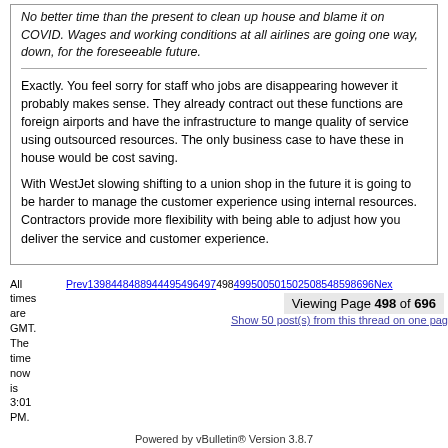No better time than the present to clean up house and blame it on COVID. Wages and working conditions at all airlines are going one way, down, for the foreseeable future.
Exactly. You feel sorry for staff who jobs are disappearing however it probably makes sense. They already contract out these functions are foreign airports and have the infrastructure to mange quality of service using outsourced resources. The only business case to have these in house would be cost saving.
With WestJet slowing shifting to a union shop in the future it is going to be harder to manage the customer experience using internal resources. Contractors provide more flexibility with being able to adjust how you deliver the service and customer experience.
All times are GMT. The time now is 3:01 PM. Prev139844848894495496497498499500501502508548598696Next Viewing Page 498 of 696 Show 50 post(s) from this thread on one page
Powered by vBulletin® Version 3.8.7 Copyright ©2000 - 2022, vBulletin Solutions, Inc.